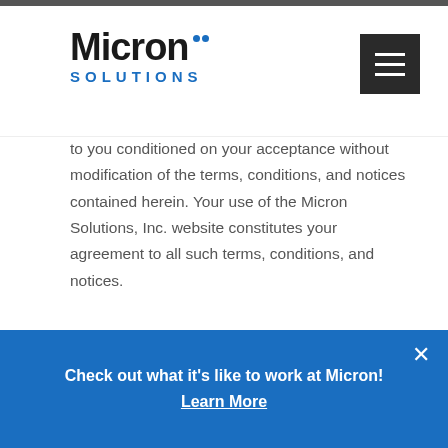[Figure (logo): Micron Solutions logo with blue dots above 'Micron' text and 'SOLUTIONS' in blue below]
to you conditioned on your acceptance without modification of the terms, conditions, and notices contained herein. Your use of the Micron Solutions, Inc. website constitutes your agreement to all such terms, conditions, and notices.
MODIFICATION OF THESE TERMS OF USE
Micron Solutions, Inc. reserves the right to change the terms, conditions, and notices under which the Micron Solutions, Inc. website
Check out what it's like to work at Micron! Learn More